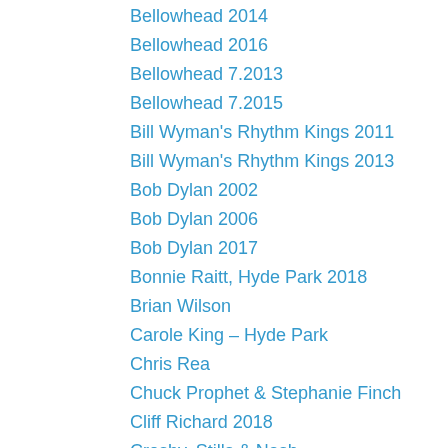Bellowhead 2014
Bellowhead 2016
Bellowhead 7.2013
Bellowhead 7.2015
Bill Wyman's Rhythm Kings 2011
Bill Wyman's Rhythm Kings 2013
Bob Dylan 2002
Bob Dylan 2006
Bob Dylan 2017
Bonnie Raitt, Hyde Park 2018
Brian Wilson
Carole King – Hyde Park
Chris Rea
Chuck Prophet & Stephanie Finch
Cliff Richard 2018
Crosby, Stills & Nash
Dave Kelly, Maggie Bell, BBQ
Don Henley – Hyde Park
Dr John
Eliza Carthy